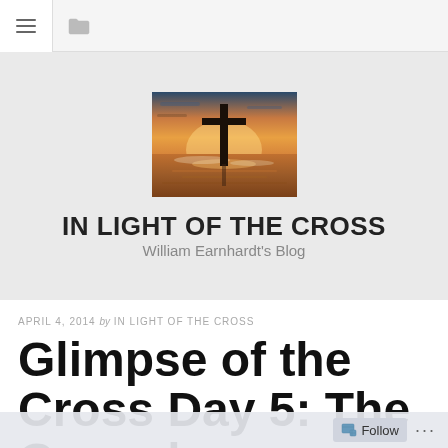Navigation bar with menu and folder icons
[Figure (photo): A Christian cross silhouetted on a beach at sunset, with ocean waves and warm orange sky in the background]
IN LIGHT OF THE CROSS
William Earnhardt's Blog
APRIL 4, 2014 by IN LIGHT OF THE CROSS
Glimpse of the Cross Day 5: The Gospel
Follow ...